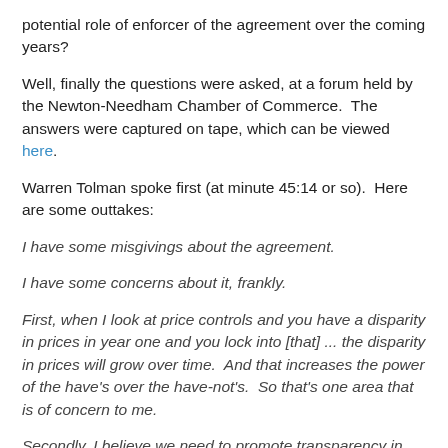potential role of enforcer of the agreement over the coming years?
Well, finally the questions were asked, at a forum held by the Newton-Needham Chamber of Commerce.  The answers were captured on tape, which can be viewed here.
Warren Tolman spoke first (at minute 45:14 or so).  Here are some outtakes:
I have some misgivings about the agreement.
I have some concerns about it, frankly.
First, when I look at price controls and you have a disparity in prices in year one and you lock into [that] ... the disparity in prices will grow over time.  And that increases the power of the have's over the have-not's.  So that's one area that is of concern to me.
Secondly, I believe we need to promote transparency in health care, above all other things.  Consumers ought to